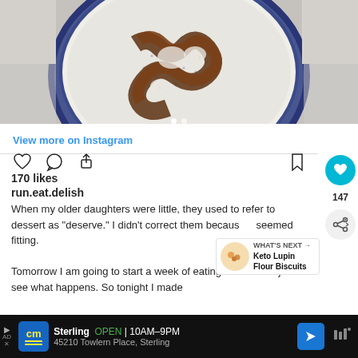[Figure (photo): Instagram post photo showing a blue and white ceramic bowl from above, containing chia pudding topped with chocolate drizzle in a swirl pattern, on a light marble/grey surface.]
View more on Instagram
[Figure (infographic): Instagram action icons row: heart (like), comment bubble, share/upload arrow on the left; bookmark icon on the right. Also includes right-side sidebar with teal heart circle (147), and share button.]
170 likes
run.eat.delish
When my older daughters were little, they used to refer to dessert as "deserve." I didn't correct them because it seemed fitting.

Tomorrow I am going to start a week of eating carnivore – just to see what happens. So tonight I made
[Figure (infographic): What's Next callout with small image of keto biscuits and text 'WHAT'S NEXT → Keto Lupin Flour Biscuits']
[Figure (infographic): Advertisement banner at bottom: Crazy Matt's (cm) store ad. Sterling OPEN 10AM-9PM 45210 Towlern Place, Sterling. Blue navigation icon on right. Arrow/disclosure ad icon on left.]